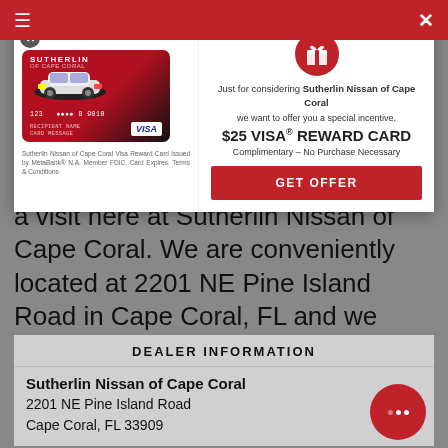≡   ✕
[Figure (infographic): Sutherlin Nissan Visa Reward Card promotional modal. Left side shows a Sutherlin branded Visa debit card with a car image. Right side shows a gift icon, text about a $25 VISA REWARD CARD offer, and a GET OFFER button.]
a visit here at Sutherlin Nissan of Cape Coral. We are conveniently located at 2201 NE Pine Island Road in Cape Coral, FL and we proudly serve all Port Charlotte and Fort Myers area motorists as well.
DEALER INFORMATION
Sutherlin Nissan of Cape Coral
2201 NE Pine Island Road
Cape Coral, FL 33909